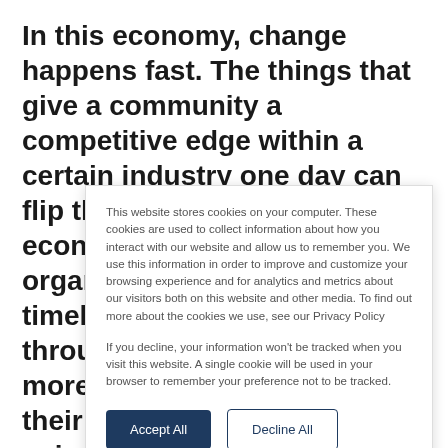In this economy, change happens fast. The things that give a community a competitive edge within a certain industry one day can flip the next. Data-savvy economic development organizations are using the timely information gathered through BR&E to become more knowledgeable about their key industries, and are using that deepened
This website stores cookies on your computer. These cookies are used to collect information about how you interact with our website and allow us to remember you. We use this information in order to improve and customize your browsing experience and for analytics and metrics about our visitors both on this website and other media. To find out more about the cookies we use, see our Privacy Policy
If you decline, your information won't be tracked when you visit this website. A single cookie will be used in your browser to remember your preference not to be tracked.